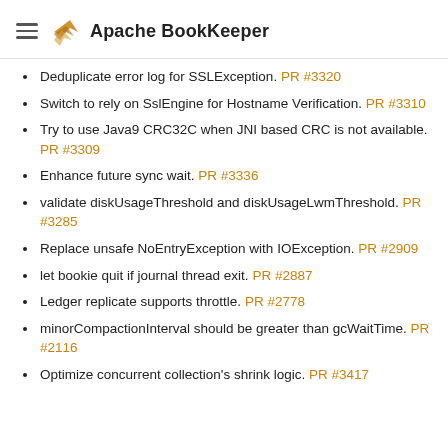Apache BookKeeper
Deduplicate error log for SSLException. PR #3320
Switch to rely on SslEngine for Hostname Verification. PR #3310
Try to use Java9 CRC32C when JNI based CRC is not available. PR #3309
Enhance future sync wait. PR #3336
validate diskUsageThreshold and diskUsageLwmThreshold. PR #3285
Replace unsafe NoEntryException with IOException. PR #2909
let bookie quit if journal thread exit. PR #2887
Ledger replicate supports throttle. PR #2778
minorCompactionInterval should be greater than gcWaitTime. PR #2116
Optimize concurrent collection's shrink logic. PR #3417